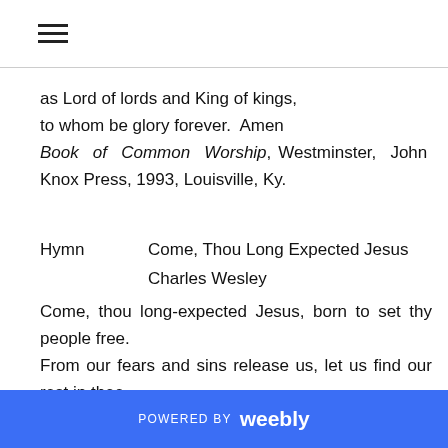☰ (hamburger menu icon)
as Lord of lords and King of kings,
to whom be glory forever.  Amen
Book of Common Worship, Westminster, John Knox Press, 1993, Louisville, Ky.
Hymn        Come, Thou Long Expected Jesus
              Charles Wesley
Come, thou long-expected Jesus, born to set thy people free.
From our fears and sins release us, let us find our rest in thee.
Israel's strength and consolation, hope of all the earth
POWERED BY weebly